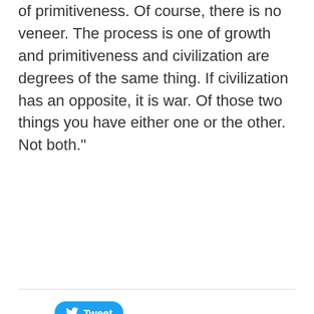of primitiveness. Of course, there is no veneer. The process is one of growth and primitiveness and civilization are degrees of the same thing. If civilization has an opposite, it is war. Of those two things you have either one or the other. Not both."
[Figure (other): Twitter Tweet button with bird logo]
You might like these
What is CI?
Planned but not targeted: The Arrival by Shaun Tan